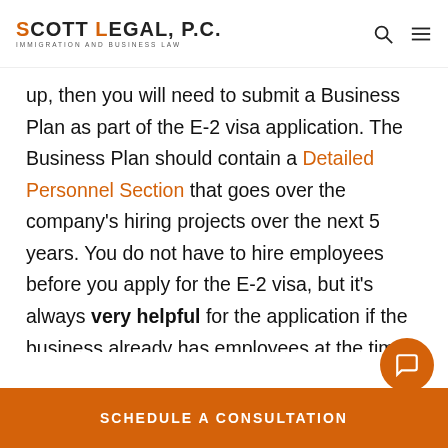SCOTT LEGAL, P.C. IMMIGRATION AND BUSINESS LAW
up, then you will need to submit a Business Plan as part of the E-2 visa application. The Business Plan should contain a Detailed Personnel Section that goes over the company's hiring projects over the next 5 years. You do not have to hire employees before you apply for the E-2 visa, but it's always very helpful for the application if the business already has employees at the time the E-2 application is submitted or at the time of the E-2 visa interview. Having
SCHEDULE A CONSULTATION